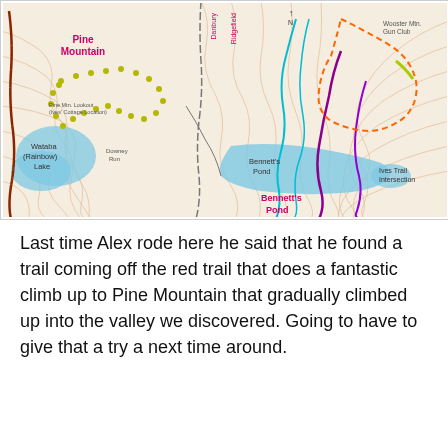[Figure (map): Topographic trail map showing Pine Mountain, Wooster Mtn. State Park, Wataba (Rainbow) Lake, Bennett's Pond, Ives Trail Intersection, Wooster Mtn. Gun Club, Pine Mtn. Lookout (Ives' Cottage Location), Downey Run. Features colored trail overlays including yellow dotted trail on Pine Mountain, cyan/teal trail lines, purple/magenta trail lines, and an orange dashed boundary line for Wooster Mtn. State Park. Blue shading indicates water bodies. Contour lines shown in light brown/orange.]
Last time Alex rode here he said that he found a trail coming off the red trail that does a fantastic climb up to Pine Mountain that gradually climbed up into the valley we discovered. Going to have to give that a try a next time around.